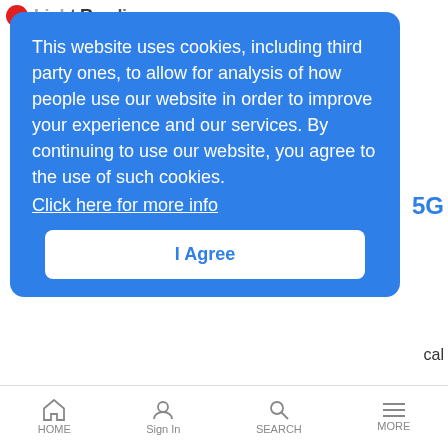Light Reading
This website uses cookies, including third party ones, to allow for analysis of how people use our website in order to improve your experience and our services. By continuing to use our website, you agree to the use of such cookies. Click here for more info
I Agree
News Analysis | 3/17/2020
Also in today's EMEA regional roundup: Swisscom delves into drones; Virgin Media lands Manchester public-sector connectivity gig; Russia spends big on satellites.
AI, machine learning could put cell sites to sleep (and slash energy costs)
HOME  Sign In  SEARCH  MORE